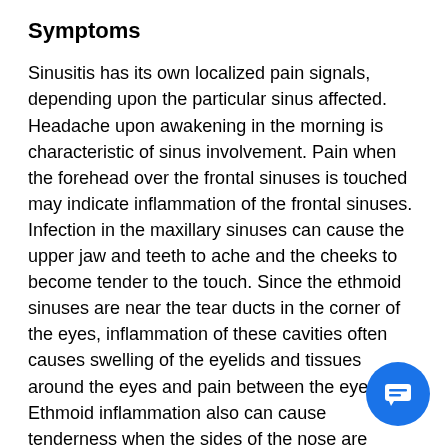Symptoms
Sinusitis has its own localized pain signals, depending upon the particular sinus affected. Headache upon awakening in the morning is characteristic of sinus involvement. Pain when the forehead over the frontal sinuses is touched may indicate inflammation of the frontal sinuses. Infection in the maxillary sinuses can cause the upper jaw and teeth to ache and the cheeks to become tender to the touch. Since the ethmoid sinuses are near the tear ducts in the corner of the eyes, inflammation of these cavities often causes swelling of the eyelids and tissues around the eyes and pain between the eyes. Ethmoid inflammation also can cause tenderness when the sides of the nose are touched, a loss of smell, and a stuffy nose. Although the sphenoid sinuses are less frequently affected, infection in this area can cause earaches, neck pain, and deep aching at the top of the head.